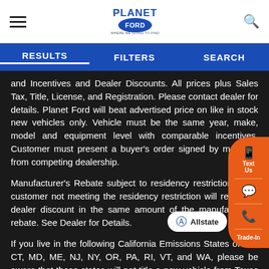Planet Ford — navigation header with hamburger menu, Planet Ford logo, and search icon
RESULTS | FILTERS | SEARCH
and Incentives and Dealer Discounts. All prices plus Sales Tax, Title, License, and Registration. Please contact dealer for details. Planet Ford will beat advertised price on like in stock new vehicles only. Vehicle must be the same year, make, model and equipment level with comparable incentives. Customer must present a buyer's order signed by manager from competing dealership.
Manufacturer's Rebate subject to residency restrictions. Any customer not meeting the residency restriction will receive a dealer discount in the same amount of the manufacturer's rebate. See Dealer for Details.
If you live in the following California Emissions States of CA, CT, MD, ME, NJ, NY, OR, PA, RI, VT, and WA, please be aware that these states will not title a new vehicle from Texas if the MSO is not listed